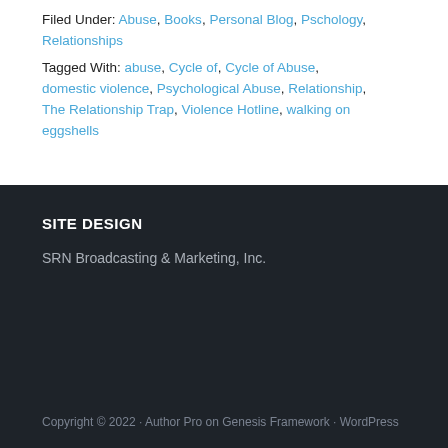Filed Under: Abuse, Books, Personal Blog, Pschology, Relationships
Tagged With: abuse, Cycle of, Cycle of Abuse, domestic violence, Psychological Abuse, Relationship, The Relationship Trap, Violence Hotline, walking on eggshells
SITE DESIGN
SRN Broadcasting & Marketing, Inc.
Copyright © 2022 · Author Pro on Genesis Framework · WordPress